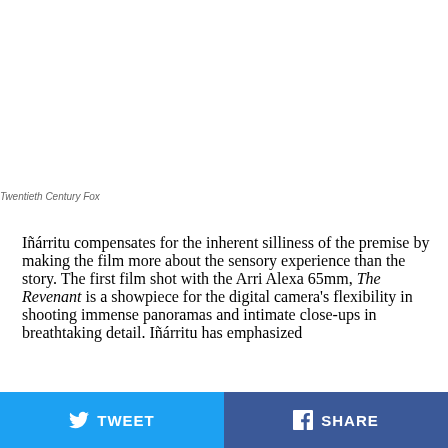Twentieth Century Fox
Iñárritu compensates for the inherent silliness of the premise by making the film more about the sensory experience than the story. The first film shot with the Arri Alexa 65mm, The Revenant is a showpiece for the digital camera's flexibility in shooting immense panoramas and intimate close-ups in breathtaking detail. Iñárritu has emphasized
TWEET   SHARE